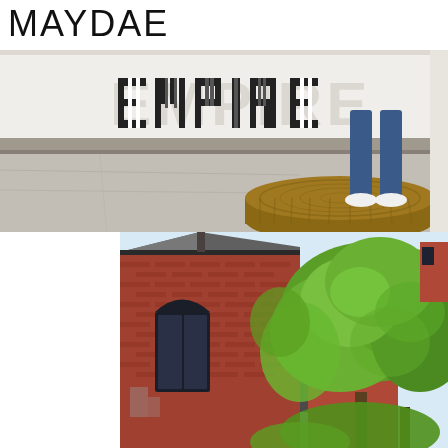MAYDAE
[Figure (photo): Street-level photo showing a storefront with 'EMPIRE' signage on the window, person standing on a round wooden platform/pedestal on the sidewalk, wearing jeans and white sneakers]
[Figure (photo): Upward-looking photo of a red brick Gothic-style church or building corner with dark-trimmed windows, surrounded by lush green summer trees]